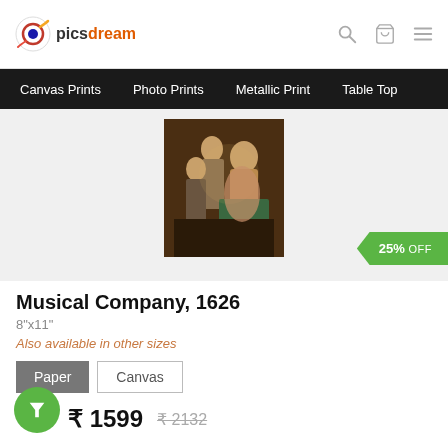picsdream
Canvas Prints  Photo Prints  Metallic Print  Table Top
[Figure (photo): Classical painting showing a musical company scene from 1626, with figures playing instruments in an interior setting]
Musical Company, 1626
8"x11"
Also available in other sizes
Paper  Canvas
₹ 1599  ₹ 2132